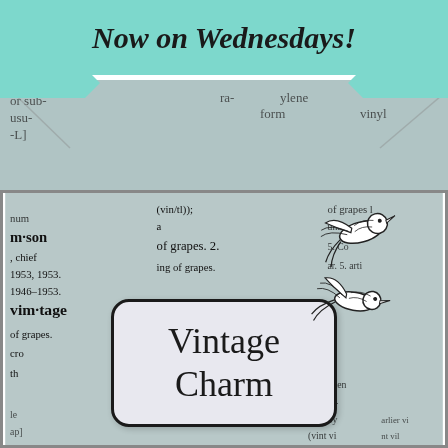Now on Wednesdays!
[Figure (illustration): Dictionary page background with blurred text showing entries for 'vintage', 'vin·son', 'vin·tage' with dates 1946-1953, and words like 'grapes', 'vinyl', 'unusually'. A decorative frame/label box contains the text 'Vintage Charm' with two illustrated swallow birds in black and white outline style perched nearby.]